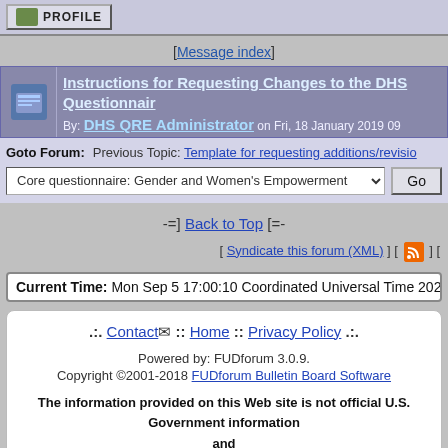[Figure (screenshot): Profile button with icon]
[Message index]
Instructions for Requesting Changes to the DHS Questionnaire
By: DHS QRE Administrator on Fri, 18 January 2019 09
Goto Forum: Previous Topic: Template for requesting additions/revisions
Core questionnaire: Gender and Women's Empowerment [dropdown] Go
-=] Back to Top [=-
[ Syndicate this forum (XML) ] [ [RSS icon] ] [
Current Time: Mon Sep 5 17:00:10 Coordinated Universal Time 2022
.:. Contact :: Home :: Privacy Policy .:.
Powered by: FUDforum 3.0.9.
Copyright ©2001-2018 FUDforum Bulletin Board Software
The information provided on this Web site is not official U.S. Government information and does not represent the views or positions of the U.S. Agency for International Development or the U.S. Government.